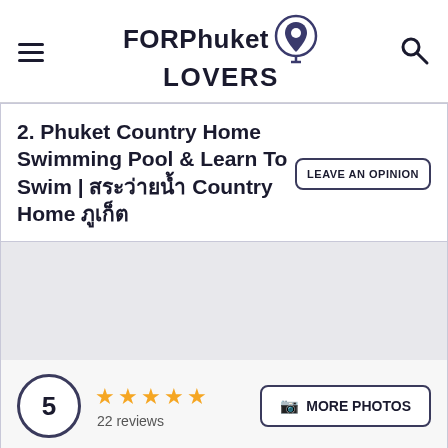FORPhuket LOVERS
2. Phuket Country Home Swimming Pool & Learn To Swim | สระว่ายน้ำ Country Home ภูเก็ต
LEAVE AN OPINION
5
22 reviews
MORE PHOTOS
Location
5
Price